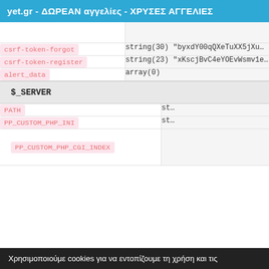yet.gr - ΔΩΡΕΑΝ αγγελίες - ΧΡΥΣΕΣ ΑΓΓΕΛΙΕΣ
| Key | Value |
| --- | --- |
| csrf-token-forgot | string(30) "byxdY00qQXeTuXX5jXu…" |
| csrf-token-register | string(23) "xKscjBvC4eYOEvWsmv1e…" |
| alert_data | array(0) |
$_SERVER
| Key | Value |
| --- | --- |
| PATH | st… |
| PP_CUSTOM_PHP_INI | st… |
| PP_CUSTOM_PHP_CGI_INDEX |  |
Χρησιμοποιούμε cookies για να εντοπίζουμε τη χρήση και τις